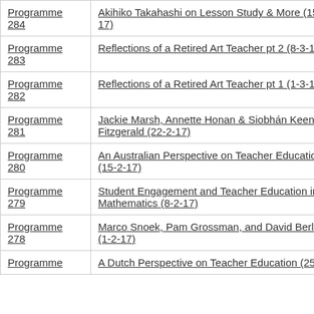| Programme 284 | Akihiko Takahashi on Lesson Study & More (15-3-17) |
| Programme 283 | Reflections of a Retired Art Teacher pt 2 (8-3-17) |
| Programme 282 | Reflections of a Retired Art Teacher pt 1 (1-3-17) |
| Programme 281 | Jackie Marsh, Annette Honan & Siobhán Keenan Fitzgerald (22-2-17) |
| Programme 280 | An Australian Perspective on Teacher Education (15-2-17) |
| Programme 279 | Student Engagement and Teacher Education in Mathematics (8-2-17) |
| Programme 278 | Marco Snoek, Pam Grossman, and David Berliner (1-2-17) |
| Programme | A Dutch Perspective on Teacher Education (25-1- |